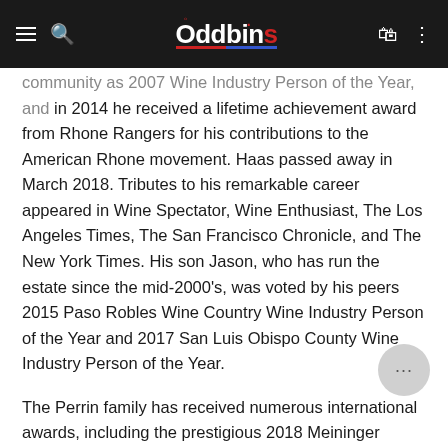Oddbins
community as 2007 Wine Industry Person of the Year, and in 2014 he received a lifetime achievement award from Rhone Rangers for his contributions to the American Rhone movement. Haas passed away in March 2018. Tributes to his remarkable career appeared in Wine Spectator, Wine Enthusiast, The Los Angeles Times, The San Francisco Chronicle, and The New York Times. His son Jason, who has run the estate since the mid-2000's, was voted by his peers 2015 Paso Robles Wine Country Wine Industry Person of the Year and 2017 San Luis Obispo County Wine Industry Person of the Year.
The Perrin family has received numerous international awards, including the prestigious 2018 Meininger Award for Wine Family of the Year. In addition, Jean-Pierre and Francois Perrin were named Men of the Year by Decanter Magazine in 2014.